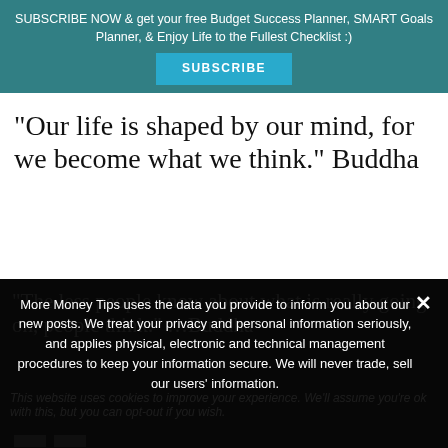SUBSCRIBE NOW & get your free Budget Success Planner, SMART Goals Planner, & Enjoy Life to the Fullest Checklist :)
"Our life is shaped by our mind, for we become what we think." Buddha
"The less people know about what is really going on, people think." …Buddha
This website uses cookies to improve your experience. We'll assume you're ok with this, but you can opt-out if you wish.
More Money Tips uses the data you provide to inform you about our new posts. We treat your privacy and personal information seriously, and applies physical, electronic and technical management procedures to keep your information secure. We will never trade, sell our users' information.
❯ Privacy Preferences
I Agree